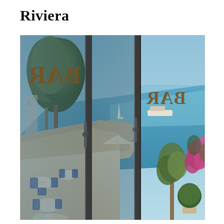Riviera
[Figure (photo): View from inside through large glass door panels (with reversed 'BAR' text lettering in golden/brown on the glass) looking out onto a sun-drenched Mediterranean terrace restaurant with blue and white bistro chairs and set tables, overlooking a rocky coastal harbour with boats and yachts moored, turquoise sea, clear blue sky, pine trees on the left, an olive tree and bougainvillea with pink flowers on the right, and a white balustrade terrace wall.]